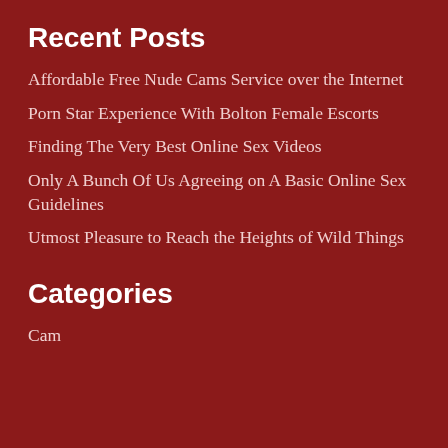Recent Posts
Affordable Free Nude Cams Service over the Internet
Porn Star Experience With Bolton Female Escorts
Finding The Very Best Online Sex Videos
Only A Bunch Of Us Agreeing on A Basic Online Sex Guidelines
Utmost Pleasure to Reach the Heights of Wild Things
Categories
Cam